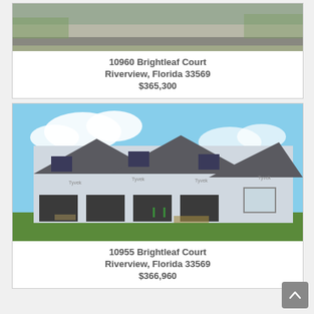[Figure (photo): Top portion of a property photo showing a street/lot view, partially cropped at top]
10960 Brightleaf Court
Riverview, Florida 33569
$365,300
[Figure (photo): Construction photo of a multi-unit townhome building wrapped in Tyvek house wrap, with multiple garage bays and a two-story structure]
10955 Brightleaf Court
Riverview, Florida 33569
$366,960